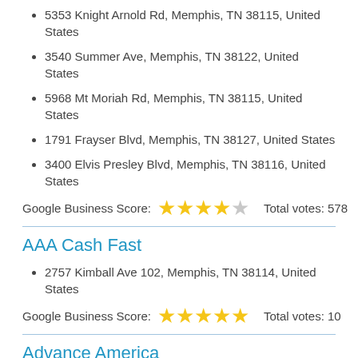5353 Knight Arnold Rd, Memphis, TN 38115, United States
3540 Summer Ave, Memphis, TN 38122, United States
5968 Mt Moriah Rd, Memphis, TN 38115, United States
1791 Frayser Blvd, Memphis, TN 38127, United States
3400 Elvis Presley Blvd, Memphis, TN 38116, United States
Google Business Score: ★★★★☆  Total votes: 578
AAA Cash Fast
2757 Kimball Ave 102, Memphis, TN 38114, United States
Google Business Score: ★★★★★  Total votes: 10
Advance America
3431 Austin Peay Hwy, Memphis, TN 38128, United States